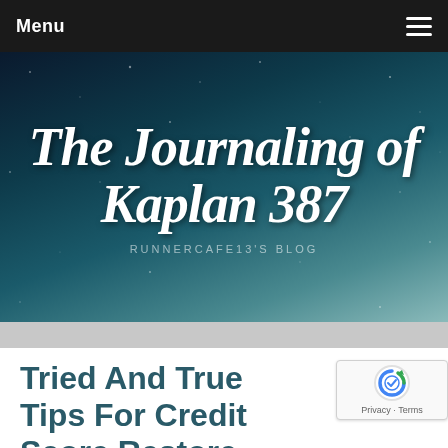Menu
[Figure (illustration): Blog banner with dark starry night sky background showing cursive script text 'The Journaling of Kaplan 387' in white with subtitle 'RUNNERCAFE13'S BLOG' below in small caps]
Tried And True Tips For Credit Score Restore
August 30, 2020